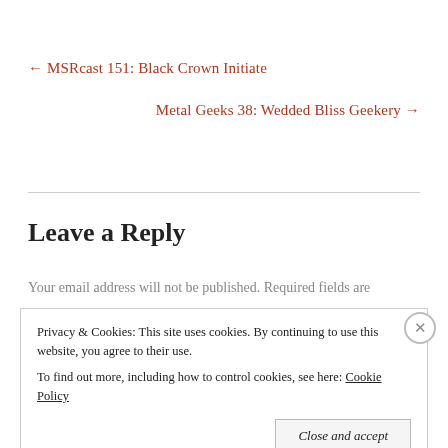← MSRcast 151: Black Crown Initiate
Metal Geeks 38: Wedded Bliss Geekery →
Leave a Reply
Your email address will not be published. Required fields are
Privacy & Cookies: This site uses cookies. By continuing to use this website, you agree to their use.
To find out more, including how to control cookies, see here: Cookie Policy
Close and accept